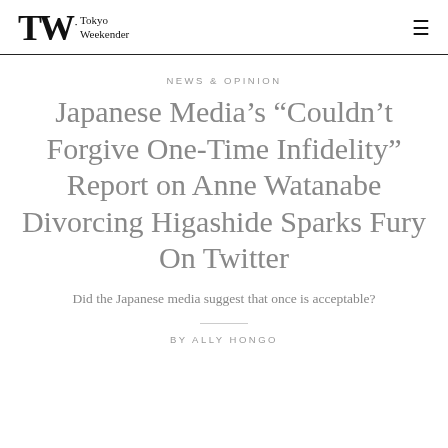TW Tokyo Weekender
NEWS & OPINION
Japanese Media's “Couldn’t Forgive One-Time Infidelity” Report on Anne Watanabe Divorcing Higashide Sparks Fury On Twitter
Did the Japanese media suggest that once is acceptable?
BY ALLY HONGO